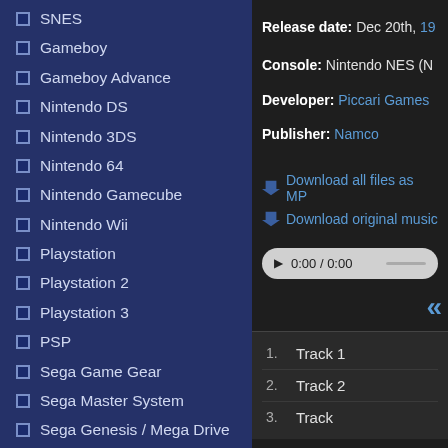SNES
Gameboy
Gameboy Advance
Nintendo DS
Nintendo 3DS
Nintendo 64
Nintendo Gamecube
Nintendo Wii
Playstation
Playstation 2
Playstation 3
PSP
Sega Game Gear
Sega Master System
Sega Genesis / Mega Drive
Sega Saturn
Sega Dreamcast
TurboGrafx-16
Xbox
Xbox 360
Release date: Dec 20th, 19...
Console: Nintendo NES (N...
Developer: Piccari Games...
Publisher: Namco
Download all files as MP...
Download original music...
0:00 / 0:00
«
1.   Track 1
2.   Track 2
3.   Track...